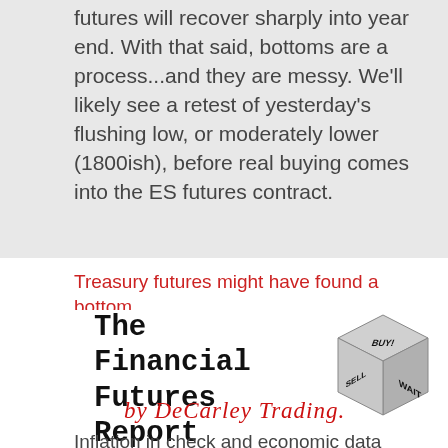futures will recover sharply into year end. With that said, bottoms are a process...and they are messy. We'll likely see a retest of yesterday's flushing low, or moderately lower (1800ish), before real buying comes into the ES futures contract.
Treasury futures might have found a bottom
[Figure (illustration): The Financial Futures Report by DeCarley Trading banner with a 3D dice showing BUY!, SELL, WAIT on its faces]
Inflation in check and economic data steady